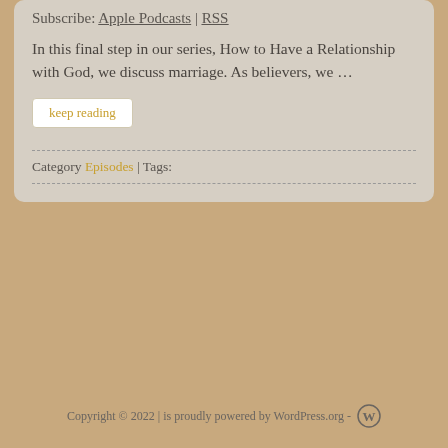Subscribe: Apple Podcasts | RSS
In this final step in our series, How to Have a Relationship with God, we discuss marriage. As believers, we …
keep reading
Category Episodes | Tags:
« Older Entries
Copyright © 2022 | is proudly powered by WordPress.org -